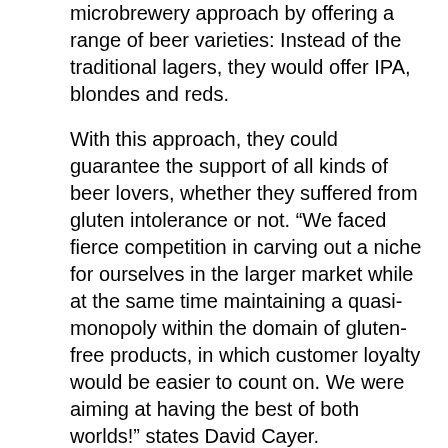microbrewery approach by offering a range of beer varieties: Instead of the traditional lagers, they would offer IPA, blondes and reds.
With this approach, they could guarantee the support of all kinds of beer lovers, whether they suffered from gluten intolerance or not. “We faced fierce competition in carving out a niche for ourselves in the larger market while at the same time maintaining a quasi-monopoly within the domain of gluten-free products, in which customer loyalty would be easier to count on. We were aiming at having the best of both worlds!” states David Cayer.
After almost eight months of work, their audacity paid off. At the 2012 edition of the World Beer Cup, the most prestigious beer competition, three of the company’s products were chosen as the